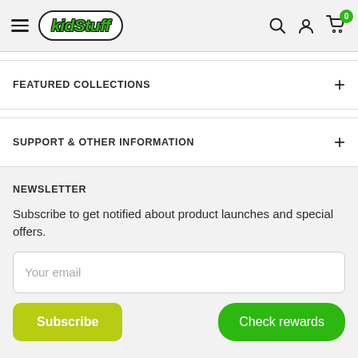kidStuff - navigation header with hamburger menu, logo, search, account, and cart icons
FEATURED COLLECTIONS
SUPPORT & OTHER INFORMATION
NEWSLETTER
Subscribe to get notified about product launches and special offers.
Your email
Subscribe
Check rewards